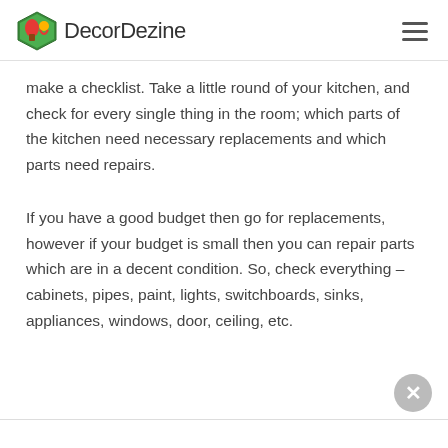DecorDezine
make a checklist. Take a little round of your kitchen, and check for every single thing in the room; which parts of the kitchen need necessary replacements and which parts need repairs.
If you have a good budget then go for replacements, however if your budget is small then you can repair parts which are in a decent condition. So, check everything – cabinets, pipes, paint, lights, switchboards, sinks, appliances, windows, door, ceiling, etc.